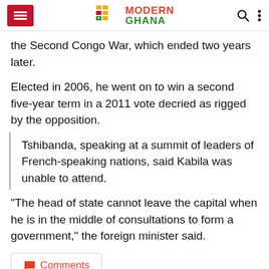Modern Ghana
the Second Congo War, which ended two years later.
Elected in 2006, he went on to win a second five-year term in a 2011 vote decried as rigged by the opposition.
Tshibanda, speaking at a summit of leaders of French-speaking nations, said Kabila was unable to attend.
"The head of state cannot leave the capital when he is in the middle of consultations to form a government," the foreign minister said.
Comments
Hottest Photo Reports